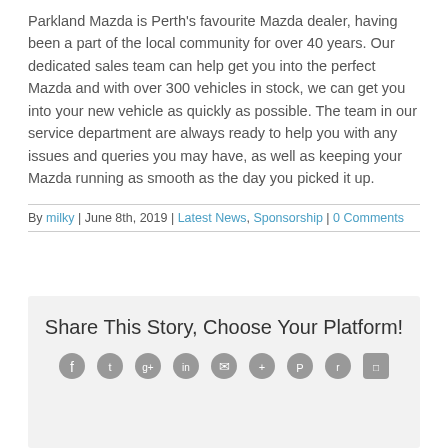Parkland Mazda is Perth's favourite Mazda dealer, having been a part of the local community for over 40 years. Our dedicated sales team can help get you into the perfect Mazda and with over 300 vehicles in stock, we can get you into your new vehicle as quickly as possible. The team in our service department are always ready to help you with any issues and queries you may have, as well as keeping your Mazda running as smooth as the day you picked it up.
By milky | June 8th, 2019 | Latest News, Sponsorship | 0 Comments
Share This Story, Choose Your Platform!